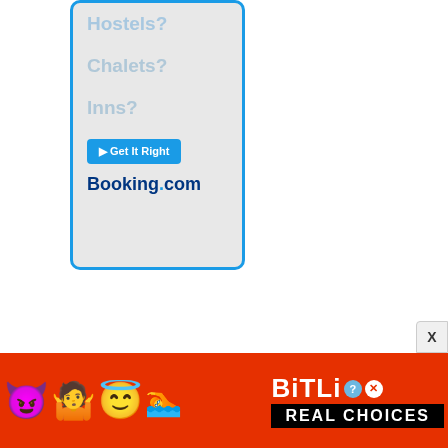[Figure (screenshot): Booking.com advertisement showing 'Hostels?', 'Chalets?', 'Inns?' text in light blue on gray background with blue border, a 'Get It Right' button and Booking.com logo]
[Figure (screenshot): BitLife mobile game advertisement with colorful emojis (devil, woman, angel, sperm), BitLife logo in white, question mark circle, X close button, and 'REAL CHOICES' in black bar on red background]